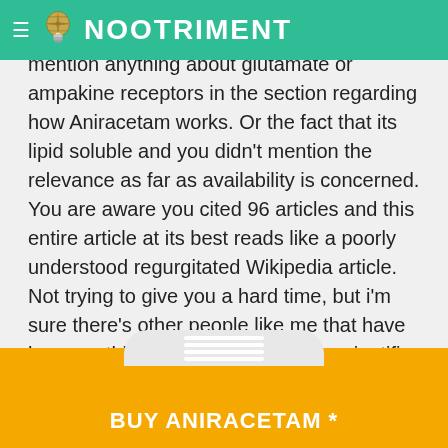NOOTRIMENT
mention anything about glutamate or ampakine receptors in the section regarding how Aniracetam works. Or the fact that its lipid soluble and you didn't mention the relevance as far as availability is concerned. You are aware you cited 96 articles and this entire article at its best reads like a poorly understood regurgitated Wikipedia article. Not trying to give you a hard time, but i'm sure there's other people like me that have been on this site looking for more, scientific
BUY ANIRACETAM *